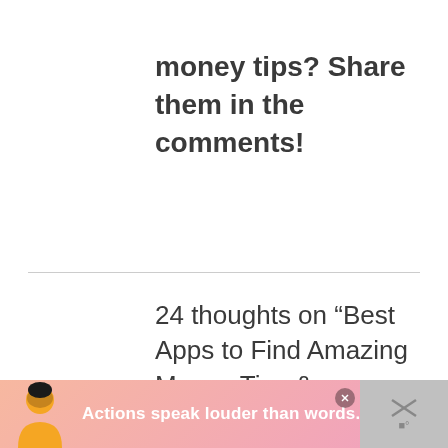money tips? Share them in the comments!
24 thoughts on “Best Apps to Find Amazing Money Tips & Savings”
AIMEE TRADER
MARCH 23, 2015 AT 12:21 AM
[Figure (screenshot): Ad banner at the bottom with person silhouette and text 'Actions speak louder than words.']